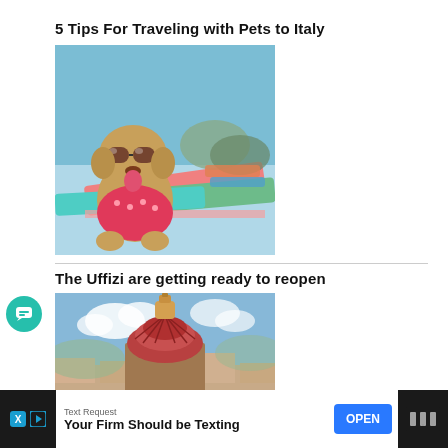5 Tips For Traveling with Pets to Italy
[Figure (photo): A small dog wearing sunglasses and a floral shirt sitting on colorful boats at a beach with blue sky background]
The Uffizi are getting ready to reopen
[Figure (photo): Aerial view of a historic cathedral dome (likely Florence Cathedral) with city and mountains in background under blue sky with clouds]
[Figure (other): Advertisement bar: Text Request - Your Firm Should be Texting - OPEN button]